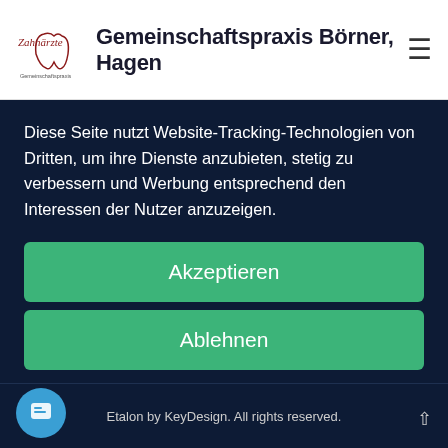Gemeinschaftspraxis Börner, Hagen
Diese Seite nutzt Website-Tracking-Technologien von Dritten, um ihre Dienste anzubieten, stetig zu verbessern und Werbung entsprechend den Interessen der Nutzer anzuzeigen.
Akzeptieren
Ablehnen
mehr
Powered by usercentrics & eRecht24
Etalon by KeyDesign. All rights reserved.